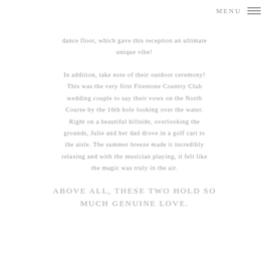MENU
dance floor, which gave this reception an ultimate unique vibe!
In addition, take note of their outdoor ceremony! This was the very first Firestone Country Club wedding couple to say their vows on the North Course by the 16th hole looking over the water. Right on a beautiful hillside, overlooking the grounds, Julie and her dad drove in a golf cart to the aisle. The summer breeze made it incredibly relaxing and with the musician playing, it felt like the magic was truly in the air.
ABOVE ALL, THESE TWO HOLD SO MUCH GENUINE LOVE.